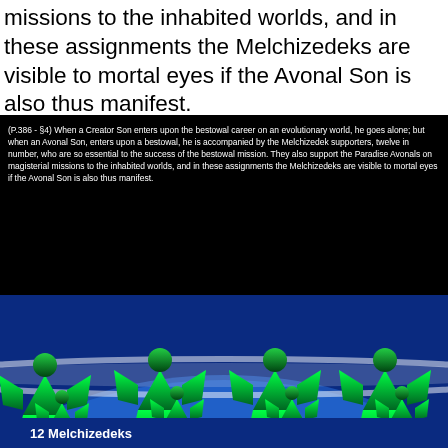missions to the inhabited worlds, and in these assignments the Melchizedeks are visible to mortal eyes if the Avonal Son is also thus manifest.
(P.386 - §4) When a Creator Son enters upon the bestowal career on an evolutionary world, he goes alone; but when an Avonal Son, enters upon a bestowal, he is accompanied by the Melchizedek supporters, twelve in number, who are so essential to the success of the bestowal mission. They also support the Paradise Avonals on magisterial missions to the inhabited worlds, and in these assignments the Melchizedeks are visible to mortal eyes if the Avonal Son is also thus manifest.
[Figure (illustration): Blue spherical planet surface with twelve green humanoid Melchizedek figures arranged in pairs against space background]
12 Melchizedeks